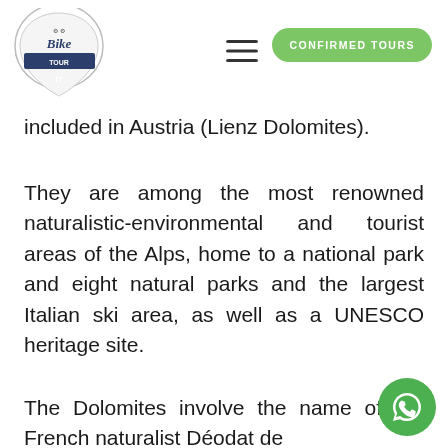CONFIRMED TOURS
included in Austria (Lienz Dolomites).
They are among the most renowned naturalistic-environmental and tourist areas of the Alps, home to a national park and eight natural parks and the largest Italian ski area, as well as a UNESCO heritage site.
The Dolomites involve the name of the French naturalist Déodat de